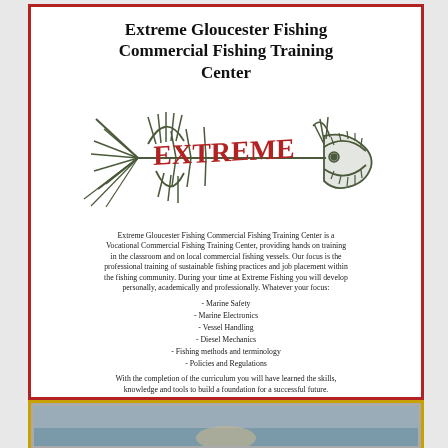Extreme Gloucester Fishing Commercial Fishing Training Center
[Figure (logo): Fish skeleton logo with the word EXTREME written in red across the body, drawn in a dark olive/green sketch style with fins and sharp teeth]
Extreme Gloucester Fishing Commercial Fishing Training Center is a Vocational Commercial Fishing Training Center, providing hands on training in the classroom and on local commercial fishing vessels. Our focus is the professional training of sustainable fishing practices and job placement within the fishing community. During your time at Extreme Fishing you will develop personally, academically and professionally. Whatever your focus:
- Marine Safety
- Marine Electronics
- Vessel Handling
- Diesel Mechanics
- Fishing methods and terminology
- Policies and Regulations
With the completion of the curriculum you will have learned the skills, knowledge and tools to build a foundation for a successful future.
www.extremegloucesterfishing.com
[Figure (photo): Partial view of a photograph showing water and possibly a boat or marine scene, cut off at bottom of page]